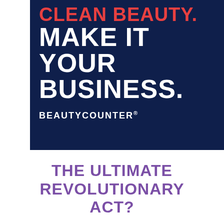[Figure (illustration): Dark navy blue banner with bold text. Top line reads 'CLEAN BEAUTY.' in red/orange, followed by 'MAKE IT YOUR BUSINESS.' in large white bold text, with BEAUTYCOUNTER brand name in white below.]
THE ULTIMATE REVOLUTIONARY ACT?